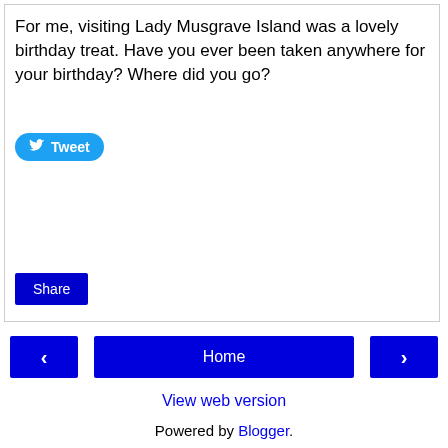For me, visiting Lady Musgrave Island was a lovely birthday treat. Have you ever been taken anywhere for your birthday? Where did you go?
[Figure (other): Tweet button with Twitter bird icon]
[Figure (other): Share button (blue)]
[Figure (other): Navigation buttons: previous (<), Home, next (>)]
View web version
Powered by Blogger.